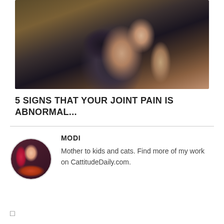[Figure (photo): Photo of a person holding their knee, suggesting joint pain. The person is wearing dark leggings and a red/pink wristband.]
5 SIGNS THAT YOUR JOINT PAIN IS ABNORMAL...
MODI
Mother to kids and cats. Find more of my work on CattitudeDaily.com.
□